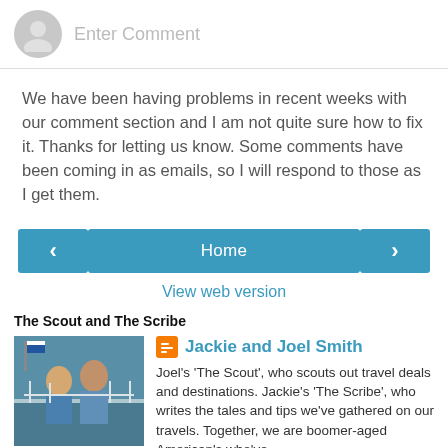Enter Comment
We have been having problems in recent weeks with our comment section and I am not quite sure how to fix it. Thanks for letting us know. Some comments have been coming in as emails, so I will respond to those as I get them.
< Home >
View web version
The Scout and The Scribe
[Figure (photo): Photo of Jackie and Joel Smith standing on a boat or dock]
Jackie and Joel Smith
Joel's 'The Scout', who scouts out travel deals and destinations. Jackie's 'The Scribe', who writes the tales and tips we've gathered on our travels. Together, we are boomer-aged American's who've just become full-time ex pats living in the Greek Peloponnese. In